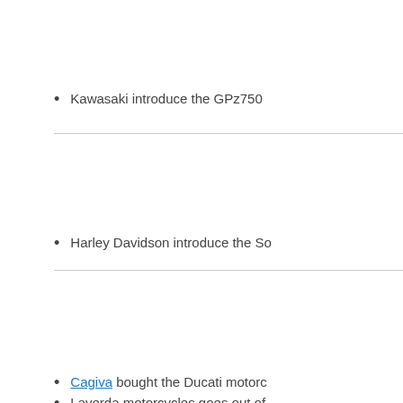Kawasaki introduce the GPz750
Harley Davidson introduce the So
Cagiva bought the Ducati motorc
Laverda motorcycles goes out of